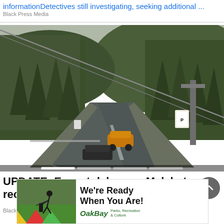informationDetectives still investigating, seeking additional ...
Black Press Media
[Figure (photo): Highway road scene showing a multi-lane highway through forested mountains with a yellow/orange vehicle and a dark vehicle visible. Power or cable lines cross diagonally overhead. Overcast sky and dense evergreen forest on hillside in background.]
UPDATE: Expect delays as Malahat reopens after morning truck fire
Black Press Media
[Figure (photo): Advertisement banner for Oak Bay Parks, Recreation & Culture showing a golfer on a green course with colourful triangular shapes and the text 'We're Ready When You Are!' and Oak Bay logo.]